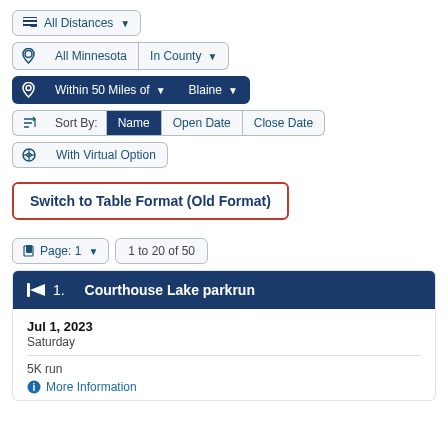All Distances (dropdown)
All Minnesota | In County (dropdown)
Within 50 Miles of (dropdown) | Blaine (dropdown)
Sort By: Name | Open Date | Close Date
With Virtual Option
Switch to Table Format (Old Format)
Page: 1 (dropdown) | 1 to 20 of 50
1. Courthouse Lake parkrun
Jul 1, 2023
Saturday
5K run
More Information